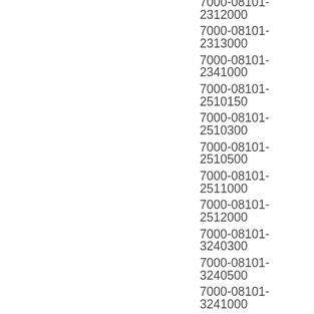7000-08101-2312000
7000-08101-2313000
7000-08101-2341000
7000-08101-2510150
7000-08101-2510300
7000-08101-2510500
7000-08101-2511000
7000-08101-2512000
7000-08101-3240300
7000-08101-3240500
7000-08101-3241000
7000-08101-6110100
7000-08101-6110150
7000-08101-6110200
7000-08101-6110300
7000-08101-6110500
7000-08101-6110750
7000-08101-6111000
7000-08101-6111500
7000-08101-6112000
7000-08101-6112500